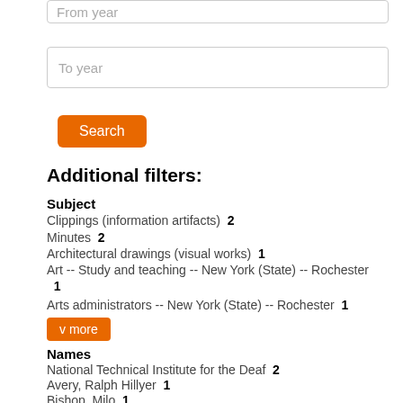[Figure (screenshot): Form input field labeled 'From year' (partially visible at top)]
[Figure (screenshot): Form input field labeled 'To year']
[Figure (screenshot): Orange 'Search' button]
Additional filters:
Subject
Clippings (information artifacts)  2
Minutes  2
Architectural drawings (visual works)  1
Art -- Study and teaching -- New York (State) -- Rochester  1
Arts administrators -- New York (State) -- Rochester  1
[Figure (screenshot): Orange 'v more' button]
Names
National Technical Institute for the Deaf  2
Avery, Ralph Hillyer  1
Bishop, Milo  1
Carey, Hugh L.  1